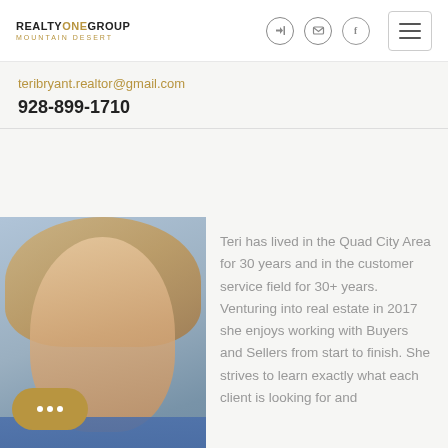REALTY ONE GROUP MOUNTAIN DESERT
teribryant.realtor@gmail.com
928-899-1710
[Figure (photo): Headshot photo of Teri Bryant, a woman with medium-length blonde hair, smiling, wearing a blue top, photographed outdoors.]
Teri has lived in the Quad City Area for 30 years and in the customer service field for 30+ years. Venturing into real estate in 2017 she enjoys working with Buyers and Sellers from start to finish. She strives to learn exactly what each client is looking for and